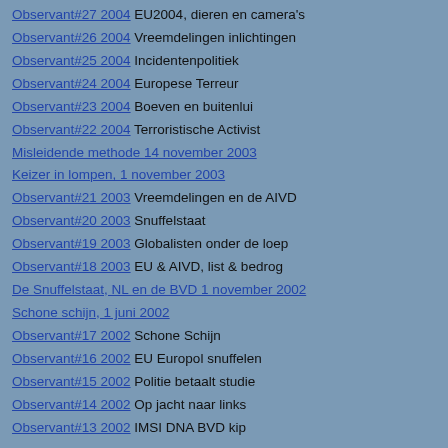Observant#27 2004 EU2004, dieren en camera's
Observant#26 2004 Vreemdelingen inlichtingen
Observant#25 2004 Incidentenpolitiek
Observant#24 2004 Europese Terreur
Observant#23 2004 Boeven en buitenlui
Observant#22 2004 Terroristische Activist
Misleidende methode 14 november 2003
Keizer in lompen, 1 november 2003
Observant#21 2003 Vreemdelingen en de AIVD
Observant#20 2003 Snuffelstaat
Observant#19 2003 Globalisten onder de loep
Observant#18 2003 EU & AIVD, list & bedrog
De Snuffelstaat, NL en de BVD 1 november 2002
Schone schijn, 1 juni 2002
Observant#17 2002 Schone Schijn
Observant#16 2002 EU Europol snuffelen
Observant#15 2002 Politie betaalt studie
Observant#14 2002 Op jacht naar links
Observant#13 2002 IMSI DNA BVD kip